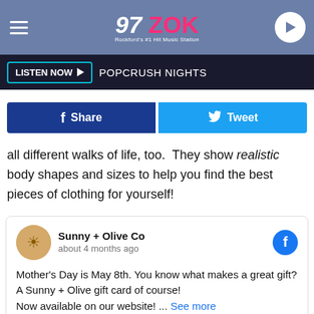97 ZOK - Rockford's #1 Hit Music Station
LISTEN NOW | POPCRUSH NIGHTS
[Figure (screenshot): Facebook Share and Tweet buttons]
all different walks of life, too. They show realistic body shapes and sizes to help you find the best pieces of clothing for yourself!
[Figure (screenshot): Embedded Facebook post from Sunny + Olive Co, about 4 months ago. Text: Mother's Day is May 8th. You know what makes a great gift? A Sunny + Olive gift card of course! Now available on our website! ... See more]
[Figure (photo): Two people shown from shoulders up, partial view at bottom of page]